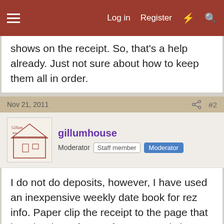Log in  Register
shows on the receipt. So, that's a help already. Just not sure about how to keep them all in order.
Nov 21, 2011  #2
gillumhouse
Moderator  Staff member  Moderator
I do not do deposits, however, I have used an inexpensive weekly date book for rez info. Paper clip the receipt to the page that has the date of rez. Of course I only have 3 rooms......
Nov 21, 2011  #3
Breakfast Diva
Well-known member
For us, the merchant copy gets stapled together with